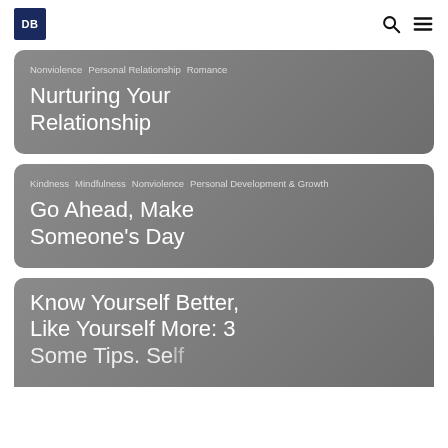DB
Nonviolence  Personal Relationship  Romance — Nurturing Your Relationship
Kindness  Mindfulness  Nonviolence  Personal Development & Growth — Go Ahead, Make Someone's Day
Know Yourself Better, Like Yourself More: 3 ...